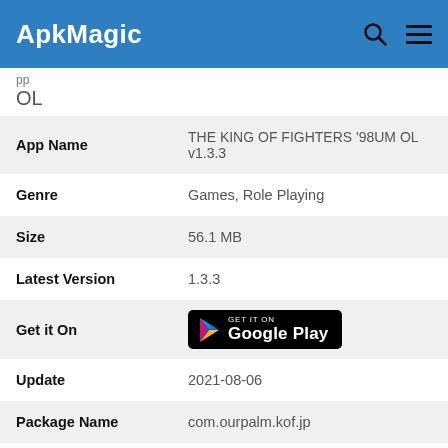ApkMagic
OL
| Field | Value |
| --- | --- |
| App Name | THE KING OF FIGHTERS '98UM OL v1.3.3 |
| Genre | Games, Role Playing |
| Size | 56.1 MB |
| Latest Version | 1.3.3 |
| Get it On | Google Play |
| Update | 2021-08-06 |
| Package Name | com.ourpalm.kof.jp |
| Rating | ★ 8.3 ( 👤 19325 ) |